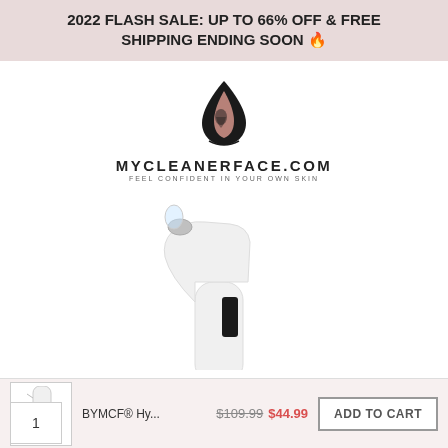2022 FLASH SALE: UP TO 66% OFF & FREE SHIPPING ENDING SOON 🔥
[Figure (logo): MyCleanerFace.com logo — a teardrop shape with silhouette of woman's face and pink feather/leaf element, black and pink]
MYCLEANERFACE.COM
FEEL CONFIDENT IN YOUR OWN SKIN
[Figure (photo): White handheld skin care device (hydrodermabrasion / blackhead remover tool) with silver tip, angled handle, and transparent water reservoir]
BYMCF® Hy...
$109.99 $44.99
ADD TO CART
1